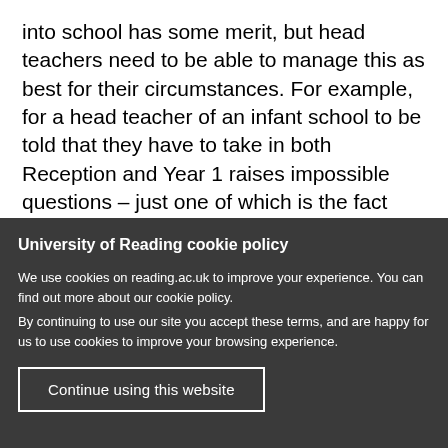into school has some merit, but head teachers need to be able to manage this as best for their circumstances. For example, for a head teacher of an infant school to be told that they have to take in both Reception and Year 1 raises impossible questions – just one of which is the fact that there are insufficient classrooms and staff to follow the guidance
University of Reading cookie policy
We use cookies on reading.ac.uk to improve your experience. You can find out more about our cookie policy.
By continuing to use our site you accept these terms, and are happy for us to use cookies to improve your browsing experience.
Continue using this website